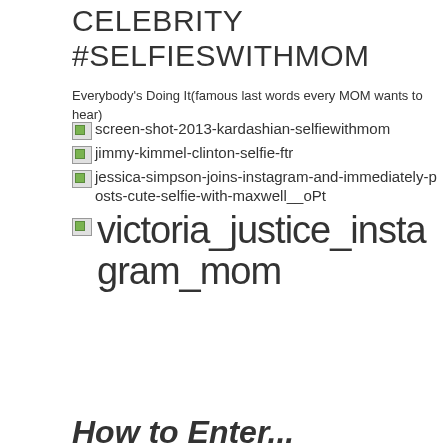CELEBRITY #SELFIESWITHMOM
Everybody's Doing It(famous last words every MOM wants to hear)
[Figure (illustration): Broken image placeholder for screen-shot-2013-kardashian-selfiewithmom]
[Figure (illustration): Broken image placeholder for jimmy-kimmel-clinton-selfie-ftr]
[Figure (illustration): Broken image placeholder for jessica-simpson-joins-instagram-and-immediately-posts-cute-selfie-with-maxwell__oPt]
[Figure (illustration): Broken image placeholder for victoria_justice_instagram_mom]
How to Enter...